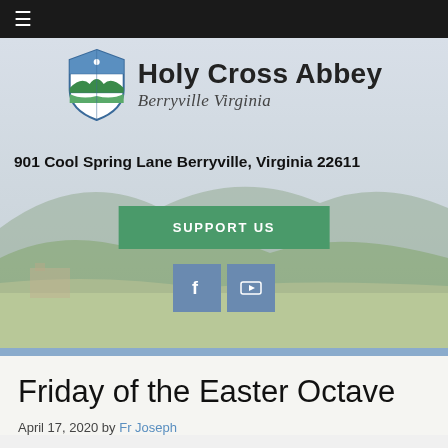≡
[Figure (illustration): Holy Cross Abbey logo with shield icon and landscape hero banner showing rolling hills and mountains. Logo text: Holy Cross Abbey, Berryville Virginia. Address: 901 Cool Spring Lane Berryville, Virginia 22611. Green SUPPORT US button. Facebook and YouTube social icons.]
Friday of the Easter Octave
April 17, 2020 by Fr Joseph